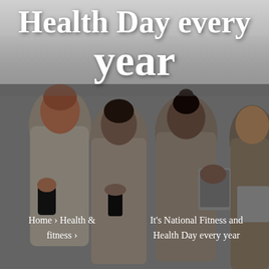[Figure (photo): Four young adults standing together looking at phones and tablets, dark muted tones, gray background]
Health Day every year
Home › Health & fitness ›
It's National Fitness and Health Day every year